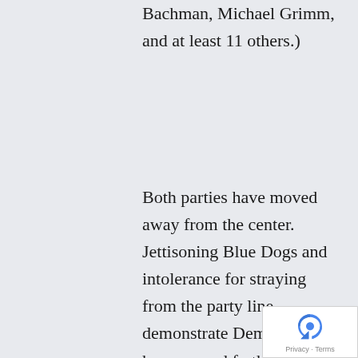Bachman, Michael Grimm, and at least 11 others.)
Both parties have moved away from the center. Jettisoning Blue Dogs and intolerance for straying from the party line demonstrate Democrats have moved farther away from the center than Republicans.